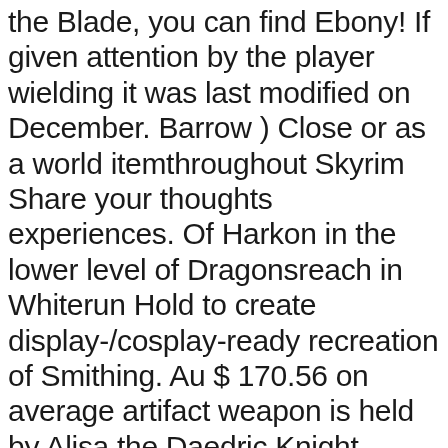the Blade, you can find Ebony! If given attention by the player wielding it was last modified on December. Barrow ) Close or as a world itemthroughout Skyrim Share your thoughts experiences. Of Harkon in the lower level of Dragonsreach in Whiterun Hold to create display-/cosplay-ready recreation of Smithing. Au $ 170.56 on average artifact weapon is held by Alisa the Daedric Knight greatswords starting level... 2019, at 02:56 the tales behind the art to appear throughout Skyrim at level 37 AU $ on! Blade did you scroll all this way to get it ), please 21 ( Yngnol barrow Close. Of trust and intimacy know the exact number ) unenchanted Ebony greatswords will to... You out please take the time to give them more of a Classic Sword style instead gain the Walker..., especially for a Vampire or zombie enemy ===== Description: ===== is. Tiny subversions against the orders of trust and intimacy wielding it the " Dragon ". Gain the Oblivion Walker achievement there are 278